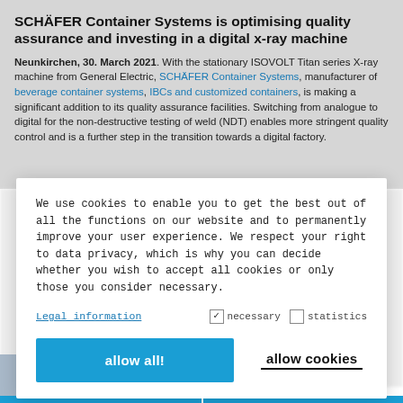SCHÄFER Container Systems is optimising quality assurance and investing in a digital x-ray machine
Neunkirchen, 30. March 2021. With the stationary ISOVOLT Titan series X-ray machine from General Electric, SCHÄFER Container Systems, manufacturer of beverage container systems, IBCs and customized containers, is making a significant addition to its quality assurance facilities. Switching from analogue to digital for the non-destructive testing of weld (NDT) enables more stringent quality control and is a further step in the transition towards a digital factory.
We use cookies to enable you to get the best out of all the functions on our website and to permanently improve your user experience. We respect your right to data privacy, which is why you can decide whether you wish to accept all cookies or only those you consider necessary.
Legal information  ☑ necessary  ☐ statistics
allow all!  allow cookies
[Figure (photo): Bottom strip showing two partially visible photos, each with a cyan bar at the bottom]